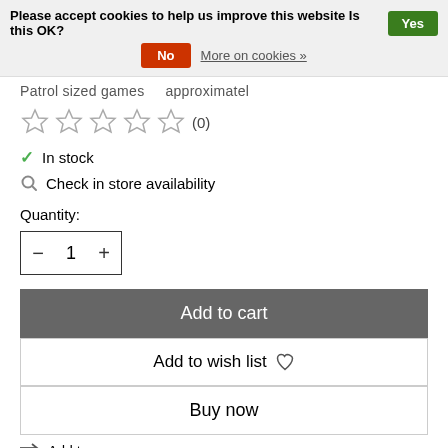Please accept cookies to help us improve this website Is this OK? Yes No More on cookies »
Patrol sized games    approximatel
[Figure (other): Five empty star rating icons with (0) review count]
✓ In stock
🔍 Check in store availability
Quantity:
[Figure (other): Quantity selector showing minus button, 1, plus button]
Add to cart
Add to wish list ♡
Buy now
⇆ Add to compare